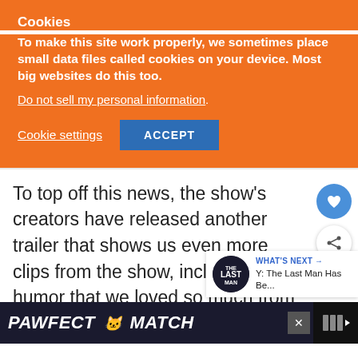Cookies
To make this site work properly, we sometimes place small data files called cookies on your device. Most big websites do this too.
Do not sell my personal information.
Cookie settings   ACCEPT
To top off this news, the show’s creators have released another trailer that shows us even more clips from the show, including of humor that we loved so much from the
[Figure (screenshot): What's Next widget with Y: The Last Man Has Be... thumbnail]
[Figure (screenshot): PAWFECT MATCH advertisement bar at the bottom]